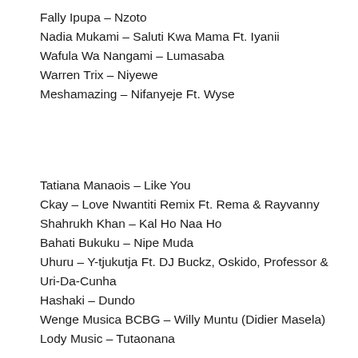Fally Ipupa – Nzoto
Nadia Mukami – Saluti Kwa Mama Ft. Iyanii
Wafula Wa Nangami – Lumasaba
Warren Trix – Niyewe
Meshamazing – Nifanyeje Ft. Wyse
Tatiana Manaois – Like You
Ckay – Love Nwantiti Remix Ft. Rema & Rayvanny
Shahrukh Khan – Kal Ho Naa Ho
Bahati Bukuku – Nipe Muda
Uhuru – Y-tjukutja Ft. DJ Buckz, Oskido, Professor & Uri-Da-Cunha
Hashaki – Dundo
Wenge Musica BCBG – Willy Muntu (Didier Masela)
Lody Music – Tutaonana